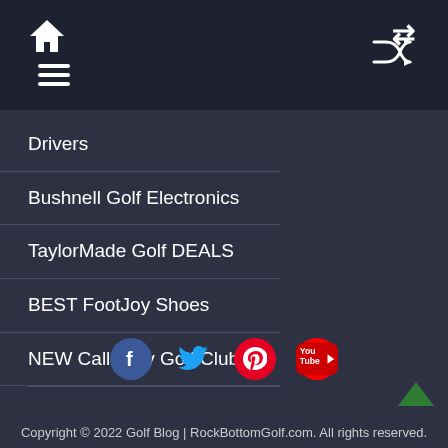Home [icon] | Menu [hamburger] | Shuffle [icon]
Drivers
Bushnell Golf Electronics
TaylorMade Golf DEALS
BEST FootJoy Shoes
NEW Callaway Golf Clubs!
Copyright © 2022 Golf Blog | RockBottomGolf.com. All rights reserved.